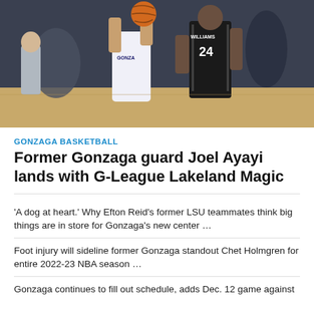[Figure (photo): Basketball game photo showing Gonzaga player in white uniform holding ball, being guarded by player with WILLIAMS #24 on jersey in dark uniform, with another player in background]
GONZAGA BASKETBALL
Former Gonzaga guard Joel Ayayi lands with G-League Lakeland Magic
'A dog at heart.' Why Efton Reid's former LSU teammates think big things are in store for Gonzaga's new center …
Foot injury will sideline former Gonzaga standout Chet Holmgren for entire 2022-23 NBA season …
Gonzaga continues to fill out schedule, adds Dec. 12 game against